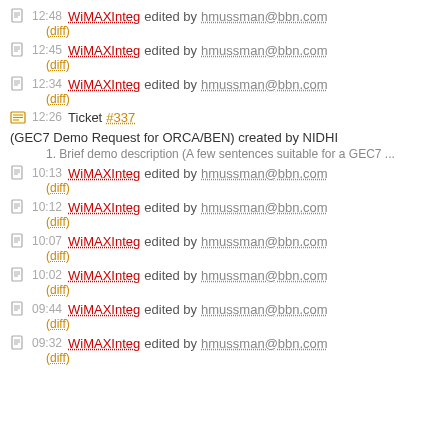12:48 WiMAXInteg edited by hmussman@bbn.com (diff)
12:45 WiMAXInteg edited by hmussman@bbn.com (diff)
12:34 WiMAXInteg edited by hmussman@bbn.com (diff)
12:26 Ticket #337 (GEC7 Demo Request for ORCA/BEN) created by NIDHI
1. Brief demo description (A few sentences suitable for a GEC7 ...
10:13 WiMAXInteg edited by hmussman@bbn.com (diff)
10:12 WiMAXInteg edited by hmussman@bbn.com (diff)
10:07 WiMAXInteg edited by hmussman@bbn.com (diff)
10:02 WiMAXInteg edited by hmussman@bbn.com (diff)
09:44 WiMAXInteg edited by hmussman@bbn.com (diff)
09:32 WiMAXInteg edited by hmussman@bbn.com (diff)